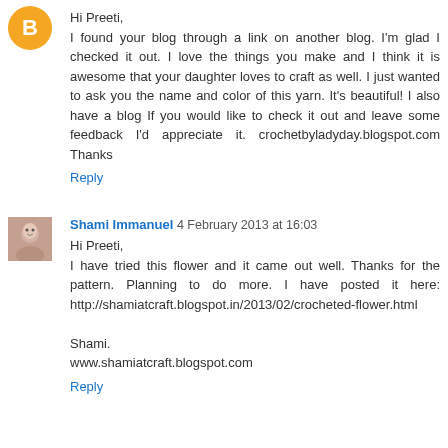[Figure (illustration): Blogger 'B' logo avatar icon, orange circle with white B letter]
Hi Preeti,
I found your blog through a link on another blog. I'm glad I checked it out. I love the things you make and I think it is awesome that your daughter loves to craft as well. I just wanted to ask you the name and color of this yarn. It's beautiful! I also have a blog If you would like to check it out and leave some feedback I'd appreciate it. crochetbyladyday.blogspot.com Thanks
Reply
[Figure (photo): Profile photo of Shami Immanuel, small square thumbnail]
Shami Immanuel  4 February 2013 at 16:03
Hi Preeti,
I have tried this flower and it came out well. Thanks for the pattern. Planning to do more. I have posted it here: http://shamiatcraft.blogspot.in/2013/02/crocheted-flower.html

Shami.
www.shamiatcraft.blogspot.com
Reply